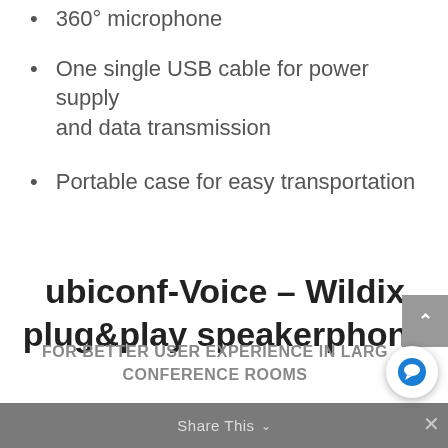360° microphone
One single USB cable for power supply and data transmission
Portable case for easy transportation
ubiconf-Voice – Wildix plug&play speakerphone
FOR BETTER USER EXPERIENCE IN LARGE CONFERENCE ROOMS
Share This